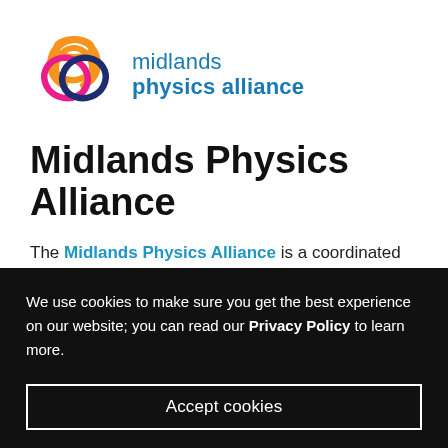[Figure (logo): Midlands Physics Alliance logo — three interlocking rings in orange, pink/magenta, and dark navy blue, followed by the text 'midlands physics alliance' in blue]
Midlands Physics Alliance
The Midlands Physics Alliance is a coordinated research group and joint Graduate School with the
We use cookies to make sure you get the best experience on our website; you can read our Privacy Policy to learn more.
Accept cookies